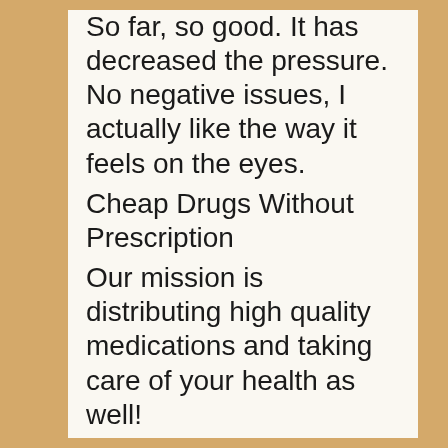So far, so good. It has decreased the pressure. No negative issues, I actually like the way it feels on the eyes.
Cheap Drugs Without Prescription
Our mission is distributing high quality medications and taking care of your health as well!
When your order is approved, the physician will then write your prescription and our ordering system will ensure that